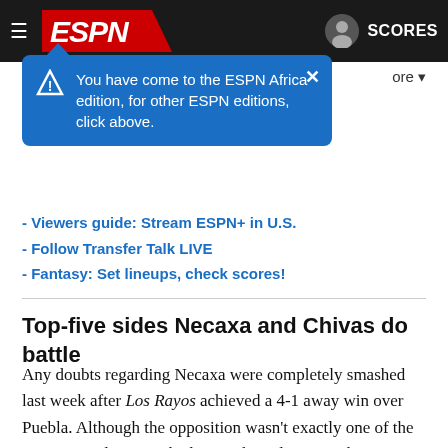[Figure (screenshot): ESPN website navigation bar with hamburger menu, ESPN logo on red background, user icon and SCORES button on dark background]
You have come to the ESPN Africa edition, for other ESPN editions, click above.
ore ▾
- Viewers guide: Stream ESPN+ in U.S.
- Follow Transfer Talk LIVE
- Fantasy: Set lineups, check scores!
Top-five sides Necaxa and Chivas do battle
Any doubts regarding Necaxa were completely smashed last week after Los Rayos achieved a 4-1 away win over Puebla. Although the opposition wasn't exactly one of the most intimidating in the league, key players such as Brian Fernandez and Angel Sepulveda were brilliant for a Necaxa side that now has three wins in four games.
Los Rayos are exceeding expectations in second place, and yet,